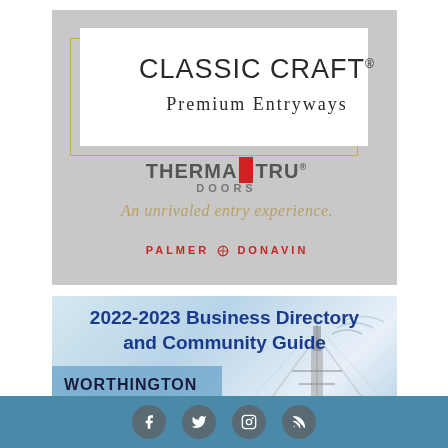[Figure (advertisement): Classic Craft Premium Entryways advertisement by Therma-Tru Doors, distributed by Palmer Donavin. Gray background with white logo box, gold border, tagline 'An unrivaled entry experience.']
2022-2023 Business Directory and Community Guide
WORTHINGTON
[Figure (illustration): Social media icons bar: Facebook, Twitter, Instagram, RSS feed icons in circular gray buttons on teal background]